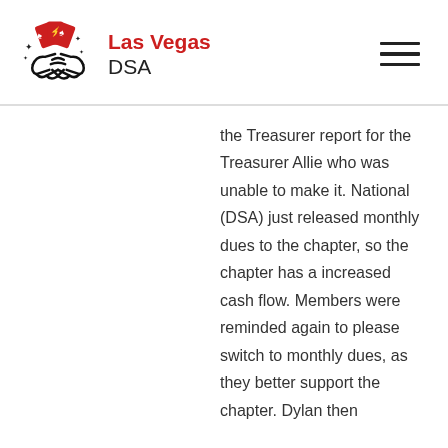Las Vegas DSA
the Treasurer report for the Treasurer Allie who was unable to make it. National (DSA) just released monthly dues to the chapter, so the chapter has a increased cash flow. Members were reminded again to please switch to monthly dues, as they better support the chapter. Dylan then